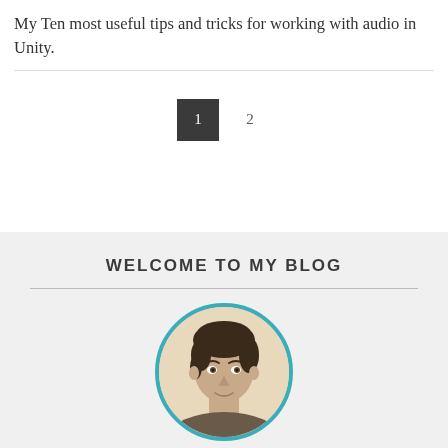My Ten most useful tips and tricks for working with audio in Unity.
1  2
WELCOME TO MY BLOG
[Figure (photo): Circular portrait photo of a young man with dark hair, framed by a teal/cyan circular border, on a light beige background.]